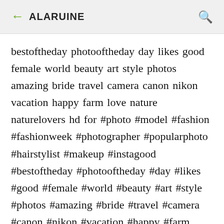← ALARUINE 🔍
bestoftheday photooftheday day likes good female world beauty art style photos amazing bride travel camera canon nikon vacation happy farm love nature naturelovers hd for #photo #model #fashion #fashionweek #photographer #popularphoto #hairstylist #makeup #instagood #bestoftheday #photooftheday #day #likes #good #female #world #beauty #art #style #photos #amazing #bride #travel #camera #canon #nikon #vacation #happy #farm #love #nature #naturelovers 2017 wallpaper cute animals drawingscute animals videoscute animals